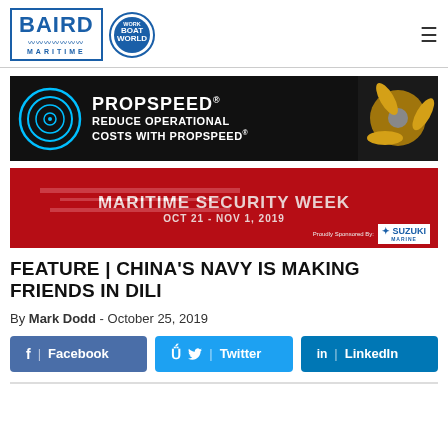[Figure (logo): Baird Maritime / Work Boat World combined logo]
[Figure (infographic): Propspeed advertisement banner: PROPSPEED® REDUCE OPERATIONAL COSTS WITH PROPSPEED®]
[Figure (infographic): Maritime Security Week banner: OCT 21 - NOV 1, 2019, sponsored by Suzuki Marine]
FEATURE | CHINA'S NAVY IS MAKING FRIENDS IN DILI
By Mark Dodd - October 25, 2019
[Figure (infographic): Social share buttons: Facebook, Twitter, LinkedIn]